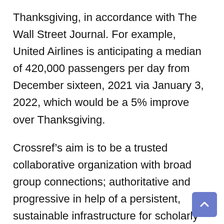Thanksgiving, in accordance with The Wall Street Journal. For example, United Airlines is anticipating a median of 420,000 passengers per day from December sixteen, 2021 via January 3, 2022, which would be a 5% improve over Thanksgiving.
Crossref’s aim is to be a trusted collaborative organization with broad group connections; authoritative and progressive in help of a persistent, sustainable infrastructure for scholarly communication. Students will have the opportunities to take part in regular area research journeys which can embody some travel costs. There is likely to be an induction residential journey which will embrace trade visits and is prone to price no extra than a most